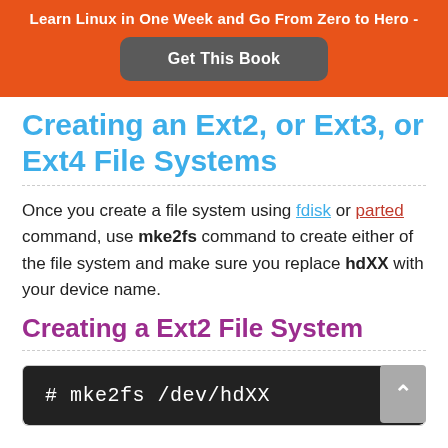Learn Linux in One Week and Go From Zero to Hero -
Get This Book
Creating an Ext2, or Ext3, or Ext4 File Systems
Once you create a file system using fdisk or parted command, use mke2fs command to create either of the file system and make sure you replace hdXX with your device name.
Creating a Ext2 File System
[Figure (screenshot): Code block showing: # mke2fs /dev/hdXX]